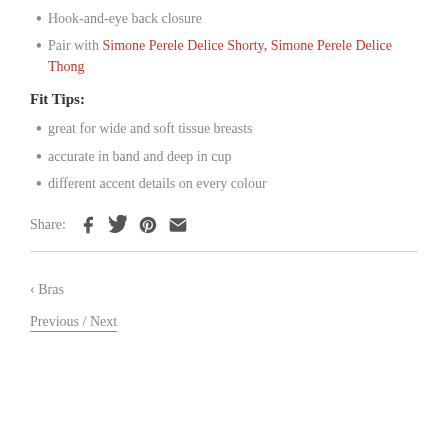Hook-and-eye back closure
Pair with Simone Perele Delice Shorty, Simone Perele Delice Thong
Fit Tips:
great for wide and soft tissue breasts
accurate in band and deep in cup
different accent details on every colour
Share: [Facebook] [Twitter] [Pinterest] [Email]
< Bras
Previous / Next